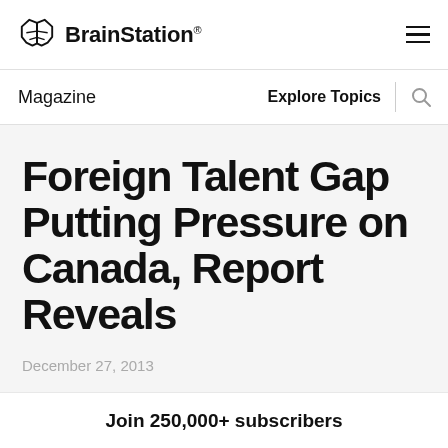BrainStation®
Magazine · Explore Topics
Foreign Talent Gap Putting Pressure on Canada, Report Reveals
December 27, 2013
Join 250,000+ subscribers